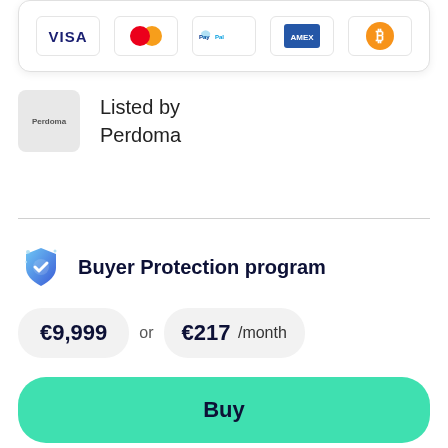[Figure (other): Payment method icons: VISA, Mastercard, PayPal, Amex, Bitcoin]
Listed by Perdoma
Buyer Protection program
€9,999 or €217 /month
Buy